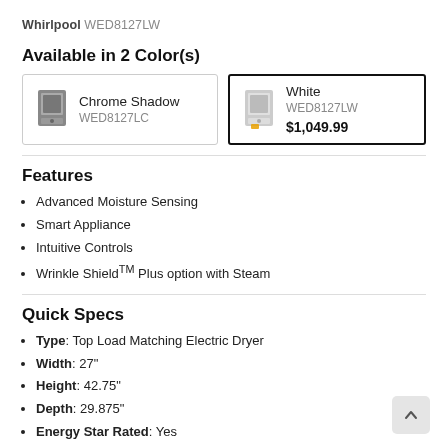Whirlpool WED8127LW
Available in 2 Color(s)
| Color | Model | Price |
| --- | --- | --- |
| Chrome Shadow | WED8127LC |  |
| White | WED8127LW | $1,049.99 |
Features
Advanced Moisture Sensing
Smart Appliance
Intuitive Controls
Wrinkle Shield™ Plus option with Steam
Quick Specs
Type: Top Load Matching Electric Dryer
Width: 27"
Height: 42.75"
Depth: 29.875"
Energy Star Rated: Yes